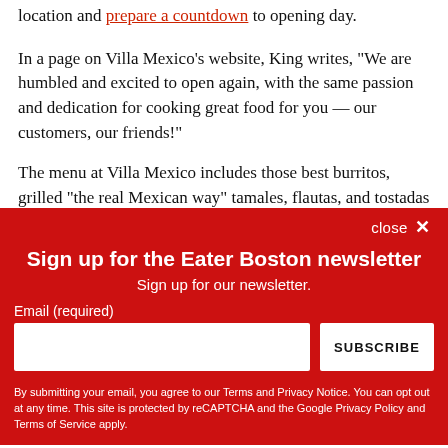location and prepare a countdown to opening day.
In a page on Villa Mexico's website, King writes, "We are humbled and excited to open again, with the same passion and dedication for cooking great food for you — our customers, our friends!"
The menu at Villa Mexico includes those best burritos, grilled "the real Mexican way" tamales, flautas, and tostadas
Sign up for the Eater Boston newsletter
Sign up for our newsletter.
Email (required)
SUBSCRIBE
By submitting your email, you agree to our Terms and Privacy Notice. You can opt out at any time. This site is protected by reCAPTCHA and the Google Privacy Policy and Terms of Service apply.